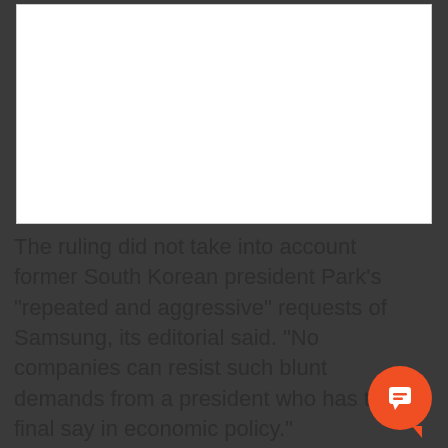[Figure (other): White rectangular image placeholder area with light border]
The ruling did not take into account former South Korean president Park's "repeated and aggressive" requests of Samsung, its editorial said. "No companies can resist such blunt demands from a president who has the final say in economic policy."